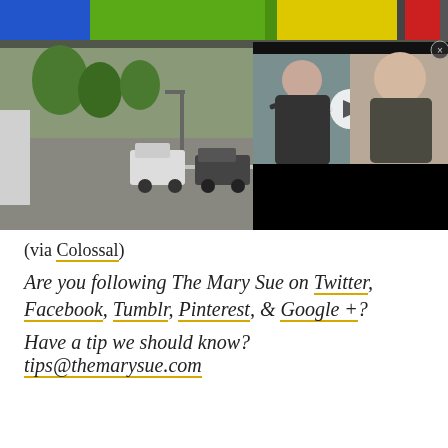[Figure (photo): A city street scene with colorful LEGO-colored bridge segments (blue, green, yellow, red) across the top. In the lower right quadrant, an embedded video player shows two women in a split-screen video with a play button overlay. The street below shows cars lined up in traffic with buildings visible in the background.]
(via Colossal)
Are you following The Mary Sue on Twitter, Facebook, Tumblr, Pinterest, & Google +?
Have a tip we should know? tips@themarysue.com